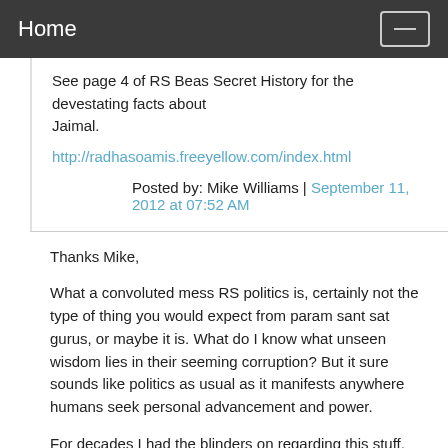Home
See page 4 of RS Beas Secret History for the devestating facts about
Jaimal.
http://radhasoamis.freeyellow.com/index.html
Posted by: Mike Williams | September 11, 2012 at 07:52 AM
Thanks Mike,
What a convoluted mess RS politics is, certainly not the type of thing you would expect from param sant sat gurus, or maybe it is. What do I know what unseen wisdom lies in their seeming corruption? But it sure sounds like politics as usual as it manifests anywhere humans seek personal advancement and power.
For decades I had the blinders on regarding this stuff.